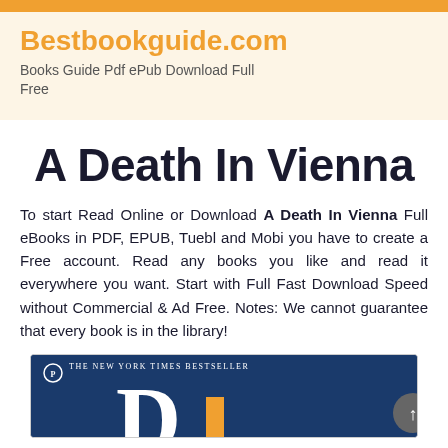Bestbookguide.com
Books Guide Pdf ePub Download Full Free
A Death In Vienna
To start Read Online or Download A Death In Vienna Full eBooks in PDF, EPUB, Tuebl and Mobi you have to create a Free account. Read any books you like and read it everywhere you want. Start with Full Fast Download Speed without Commercial & Ad Free. Notes: We cannot guarantee that every book is in the library!
[Figure (photo): Book cover of A Death In Vienna showing THE NEW YORK TIMES BESTSELLER badge and large letter D on dark blue background, with orange accent and scroll-to-top button overlay]